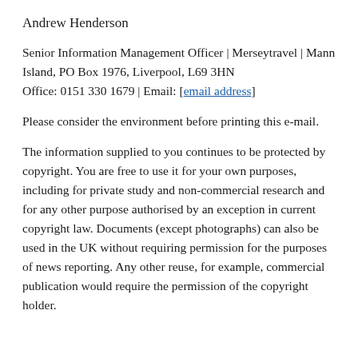Andrew Henderson
Senior Information Management Officer | Merseytravel | Mann Island, PO Box 1976, Liverpool, L69 3HN Office: 0151 330 1679 | Email: [email address]
Please consider the environment before printing this e-mail.
The information supplied to you continues to be protected by copyright. You are free to use it for your own purposes, including for private study and non-commercial research and for any other purpose authorised by an exception in current copyright law. Documents (except photographs) can also be used in the UK without requiring permission for the purposes of news reporting. Any other reuse, for example, commercial publication would require the permission of the copyright holder.